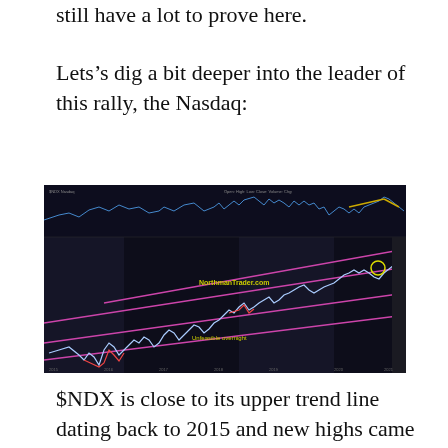still have a lot to prove here.
Lets’s dig a bit deeper into the leader of this rally, the Nasdaq:
[Figure (continuous-plot): Nasdaq ($NDX) stock chart showing price action with pink parallel trend channel lines extending from lower left to upper right. The price has reached the upper trend line. There is a yellow/green circle marking a recent high near the upper trend line. Text overlay reads 'NorthmanTrader.com' and 'Unfeasible overnight'. The chart appears to be a long-term weekly or monthly chart dating back to 2015, with a dark background. An upper panel shows a volatility or momentum indicator.]
$NDX is close to its upper trend line dating back to 2015 and new highs came on a very